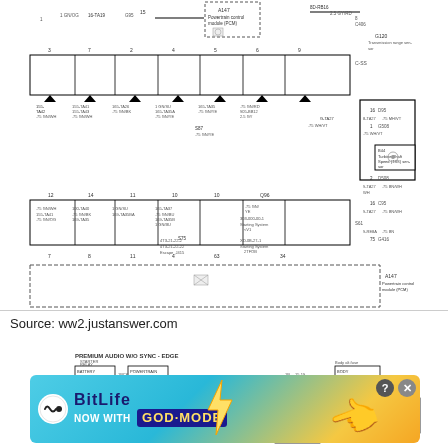[Figure (schematic): Automotive wiring/electrical schematic diagram showing Powertrain control module (PCM) A147 connections, transmission range sensor, turbine shaft speed sensor, starting systems, and various wire connectors with labels like GN/OG, GN/BU, GNWH, GN/YE, GN/RD, BN/WH, etc. Multiple connector blocks and wire routing paths shown.]
Source: ww2.justanswer.com
[Figure (schematic): Partial automotive wiring schematic for PREMIUM AUDIO W/O SYNC - EDGE showing battery junction box, powertrain control module, body control module base, front controls display interface module connections with serial bus lines.]